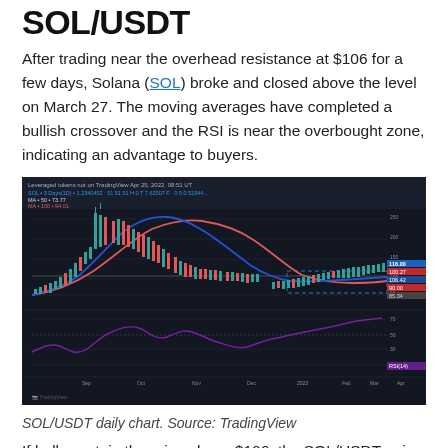SOL/USDT
After trading near the overhead resistance at $106 for a few days, Solana (SOL) broke and closed above the level on March 27. The moving averages have completed a bullish crossover and the RSI is near the overbought zone, indicating an advantage to buyers.
[Figure (continuous-plot): SOL/USDT daily candlestick chart from TradingView showing price action with moving averages (blue and red), a support/resistance zone (dashed blue lines around $106), and an RSI oscillator panel below the main price chart.]
SOL/USDT daily chart. Source: TradingView
If bulls sustain the price above $106, the SOL/USDT pair